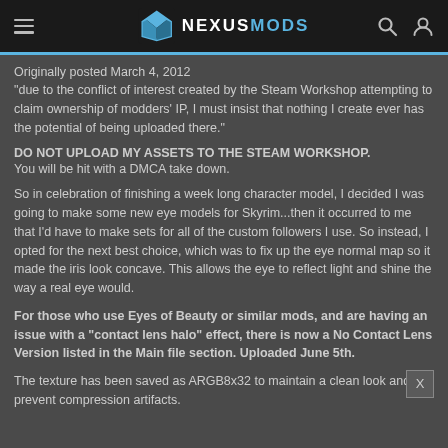NEXUSMODS
Originally posted March 4, 2012
"due to the conflict of interest created by the Steam Workshop attempting to claim ownership of modders' IP, I must insist that nothing I create ever has the potential of being uploaded there."
DO NOT UPLOAD MY ASSETS TO THE STEAM WORKSHOP.
You will be hit with a DMCA take down.
So in celebration of finishing a week long character model, I decided I was going to make some new eye models for Skyrim...then it occurred to me that I'd have to make sets for all of the custom followers I use. So instead, I opted for the next best choice, which was to fix up the eye normal map so it made the iris look concave. This allows the eye to reflect light and shine the way a real eye would.
For those who use Eyes of Beauty or similar mods, and are having an issue with a "contact lens halo" effect, there is now a No Contact Lens Version listed in the Main file section. Uploaded June 5th.
The texture has been saved as ARGB8x32 to maintain a clean look and prevent compression artifacts.